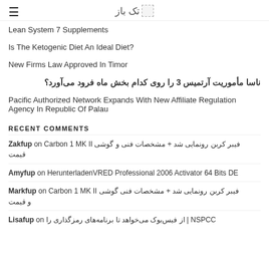تک باز
Lean System 7 Supplements
Is The Ketogenic Diet An Ideal Diet?
New Firms Law Approved In Timor
ناسا مأموریت آرتمیس 3 را روی کدام بخش ماه فرود می‌آورد؟
Pacific Authorized Network Expands With New Affiliate Regulation Agency In Republic Of Palau
RECENT COMMENTS
Zakfup on گوشی Carbon 1 MK II و + مشخصات فنی رونمایی شد فیبر کربن قیمت
Amyfup on HerunterladenVRED Professional 2006 Activator 64 Bits DE
Markfup on گوشی Carbon 1 MK II مشخصات فنی + رونمایی شد فیبر کربن و قیمت
Lisafup on NSPCC | از فیس‌بوک می‌خواهد تا برنامه‌های رمزگذاری را